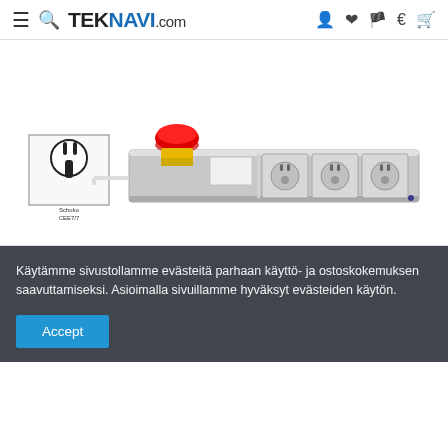TEKNAVI.com
[Figure (photo): A power strip with a red emergency stop button mushroom switch, multiple European Schuko outlets, housed in a gray aluminum rail. A small inset image in the lower left shows the plug type labeled 'Schuko CEE7/7'.]
Käytämme sivustollamme evästeitä parhaan käyttö- ja ostoskokemuksen saavuttamiseksi. Asioimalla sivuillamme hyväksyt evästeiden käytön.
Accept